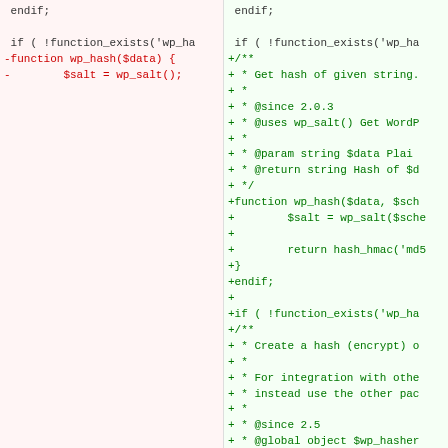[Figure (screenshot): A two-column code diff view showing removed lines (red, left column) and added lines (green, right column) for WordPress wp_hash function. Left side shows the old short function definition being removed. Right side shows the new expanded function with PHPDoc block being added.]